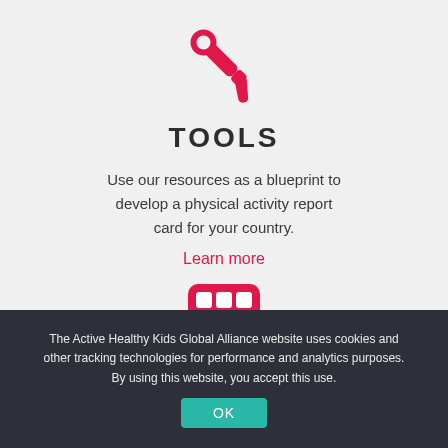[Figure (illustration): Pink/red wrench icon centered near top of page]
TOOLS
Use our resources as a blueprint to develop a physical activity report card for your country.
Learn more
[Figure (illustration): Pink/red grid/table icon with 3x3 cells]
The Active Healthy Kids Global Alliance website uses cookies and other tracking technologies for performance and analytics purposes. By using this website, you accept this use.